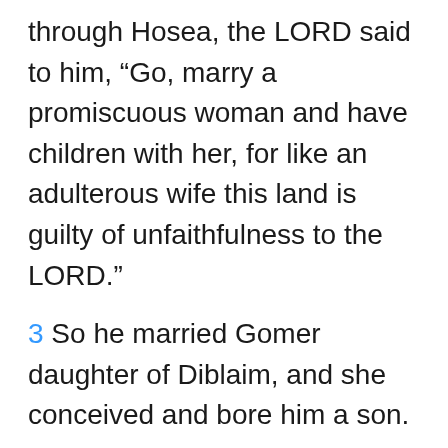through Hosea, the LORD said to him, “Go, marry a promiscuous woman and have children with her, for like an adulterous wife this land is guilty of unfaithfulness to the LORD.”
3 So he married Gomer daughter of Diblaim, and she conceived and bore him a son.
4 Then the LORD said to Hosea, “Call him Jezreel, because I will soon punish the house of Jehu for the massacre at Jezreel, and I will put an end to the kingdom of Israel.